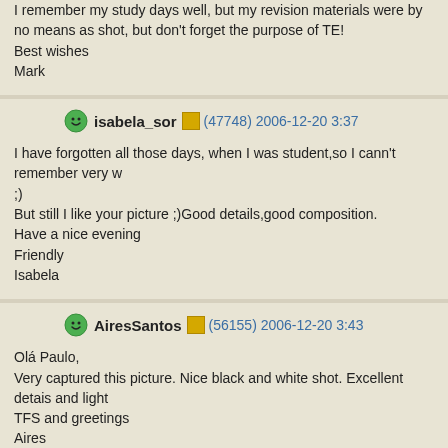I remember my study days well, but my revision materials were by no means as shot, but don't forget the purpose of TE!
Best wishes
Mark
isabela_sor (47748) 2006-12-20 3:37
I have forgotten all those days, when I was student,so I cann't remember very w
;)
But still I like your picture ;)Good details,good composition.
Have a nice evening
Friendly
Isabela
AiresSantos (56155) 2006-12-20 3:43
Olá Paulo,
Very captured this picture. Nice black and white shot. Excellent detais and light
TFS and greetings
Aires
alentejo (1954) 2006-12-23 15:52
Ola Paulo !